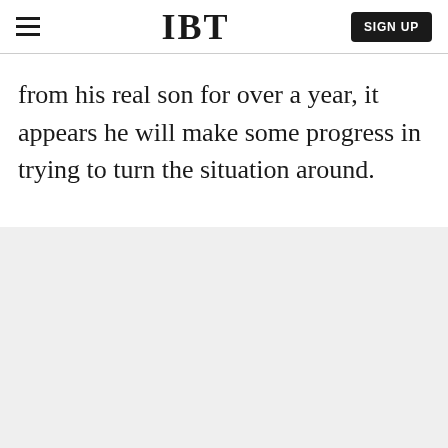IBT | SIGN UP
from his real son for over a year, it appears he will make some progress in trying to turn the situation around.
[Figure (other): Grey placeholder area filling the lower portion of the page]